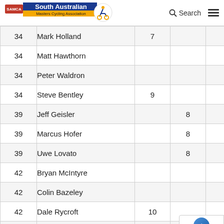SAMCA South Australian Masters Cycling Association — Search
| Rank | Name | Col3 | Col4 | Col5 |
| --- | --- | --- | --- | --- |
| 34 | Mark Holland | 7 |  |  |
| 34 | Matt Hawthorn |  |  |  |
| 34 | Peter Waldron |  |  |  |
| 34 | Steve Bentley | 9 |  |  |
| 39 | Jeff Geisler |  | 8 |  |
| 39 | Marcus Hofer |  | 8 |  |
| 39 | Uwe Lovato |  | 8 |  |
| 42 | Bryan McIntyre |  |  |  |
| 42 | Colin Bazeley |  |  |  |
| 42 | Dale Rycroft | 10 |  |  |
| 42 | Michael Stewart |  |  |  |